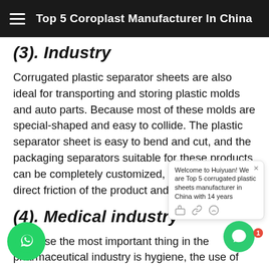Top 5 Coroplast Manufacturer In China
(3). Industry
Corrugated plastic separator sheets are also ideal for transporting and storing plastic molds and auto parts. Because most of these molds are special-shaped and easy to collide. The plastic separator sheet is easy to bend and cut, and the packaging separators suitable for these products can be completely customized, which avoids direct friction of the product and is visually neat.
(4). Medical industry
Because the most important thing in the pharmaceutical industry is hygiene, the use of plastic separator sheets can effectively prevent dust and insects from entering the bottle and prevent contamination of drugs.